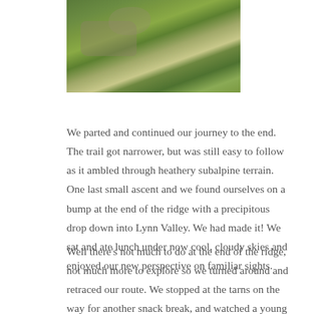[Figure (photo): Photograph of heathery subalpine terrain with mossy rocks and green vegetation, partially cropped at the top of the page.]
We parted and continued our journey to the end. The trail got narrower, but was still easy to follow as it ambled through heathery subalpine terrain. One last small ascent and we found ourselves on a bump at the end of the ridge with a precipitous drop down into Lynn Valley. We had made it! We sat and ate lunch under now cool, cloudy skies and enjoyed our new perspective on familiar sights.
Well there's not much to do at the end of the ridge, not much more to explore so we turned around and retraced our route. We stopped at the tarns on the way for another snack break, and watched a young dipper